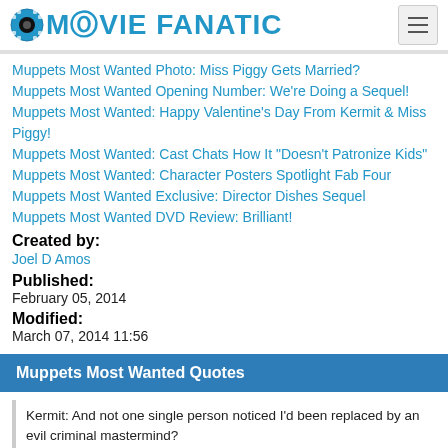MOVIE FANATIC
Muppets Most Wanted Photo: Miss Piggy Gets Married?
Muppets Most Wanted Opening Number: We're Doing a Sequel!
Muppets Most Wanted: Happy Valentine's Day From Kermit & Miss Piggy!
Muppets Most Wanted: Cast Chats How It "Doesn't Patronize Kids"
Muppets Most Wanted: Character Posters Spotlight Fab Four
Muppets Most Wanted Exclusive: Director Dishes Sequel
Muppets Most Wanted DVD Review: Brilliant!
Created by:
Joel D Amos
Published:
February 05, 2014
Modified:
March 07, 2014 11:56
Muppets Most Wanted Quotes
Kermit: And not one single person noticed I'd been replaced by an evil criminal mastermind?